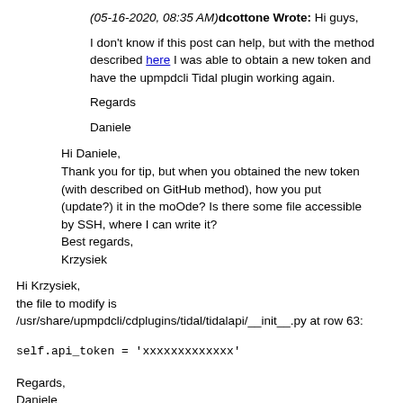(05-16-2020, 08:35 AM)dcottone Wrote: Hi guys,

I don't know if this post can help, but with the method described here I was able to obtain a new token and have the upmpdcli Tidal plugin working again.

Regards

Daniele
Hi Daniele,
Thank you for tip, but when you obtained the new token (with described on GitHub method), how you put (update?) it in the moOde? Is there some file accessible by SSH, where I can write it?
Best regards,
Krzysiek
Hi Krzysiek,
the file to modify is
/usr/share/upmpdcli/cdplugins/tidal/tidalapi/__init__.py at row 63:

self.api_token = 'xxxxxxxxxxxxx'

Regards,
Daniele